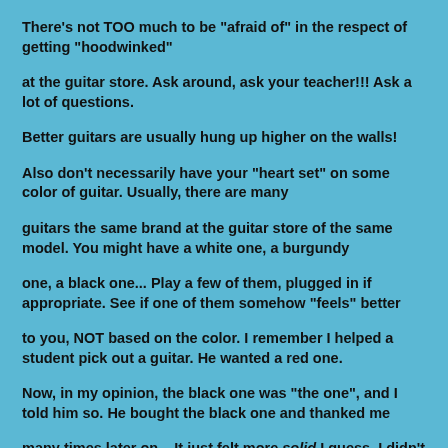There's not TOO much to be "afraid of" in the respect of getting "hoodwinked"
at the guitar store. Ask around, ask your teacher!!! Ask a lot of questions.
Better guitars are usually hung up higher on the walls!
Also don't necessarily have your "heart set" on some color of guitar. Usually, there are many
guitars the same brand at the guitar store of the same model. You might have a white one, a burgundy
one, a black one... Play a few of them, plugged in if appropriate. See if one of them somehow "feels" better
to you, NOT based on the color. I remember I helped a student pick out a guitar. He wanted a red one.
Now, in my opinion, the black one was "the one", and I told him so. He bought the black one and thanked me
many times later on... It just felt more solid I guess, I didn't think too hard about it. But the